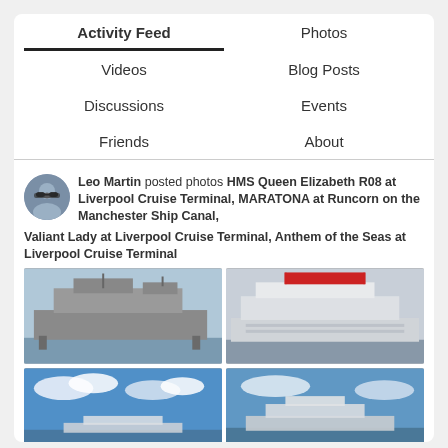Activity Feed
Photos
Videos
Blog Posts
Discussions
Events
Friends
About
Leo Martin posted photos HMS Queen Elizabeth R08 at Liverpool Cruise Terminal, MARATONA at Runcorn on the Manchester Ship Canal, Valiant Lady at Liverpool Cruise Terminal, Anthem of the Seas at Liverpool Cruise Terminal
[Figure (photo): HMS Queen Elizabeth R08 aircraft carrier at Liverpool Cruise Terminal]
[Figure (photo): Large cruise ship with red and white livery at Liverpool Cruise Terminal]
[Figure (photo): Cruise ship with blue sky and clouds in background]
[Figure (photo): Cruise ship at Liverpool Cruise Terminal]